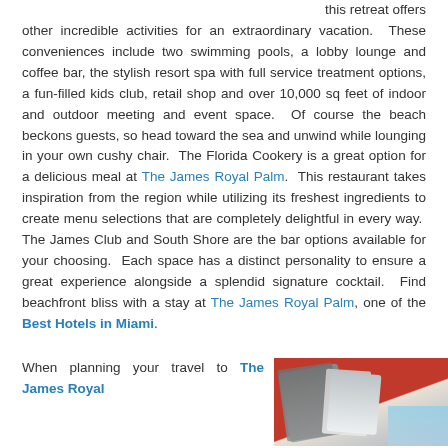this retreat offers other incredible activities for an extraordinary vacation. These conveniences include two swimming pools, a lobby lounge and coffee bar, the stylish resort spa with full service treatment options, a fun-filled kids club, retail shop and over 10,000 sq feet of indoor and outdoor meeting and event space. Of course the beach beckons guests, so head toward the sea and unwind while lounging in your own cushy chair. The Florida Cookery is a great option for a delicious meal at The James Royal Palm. This restaurant takes inspiration from the region while utilizing its freshest ingredients to create menu selections that are completely delightful in every way. The James Club and South Shore are the bar options available for your choosing. Each space has a distinct personality to ensure a great experience alongside a splendid signature cocktail. Find beachfront bliss with a stay at The James Royal Palm, one of the Best Hotels in Miami.
When planning your travel to The James Royal
[Figure (photo): Photo of beach chairs and red cabana or resort furniture near the ocean, with striped cushions visible]